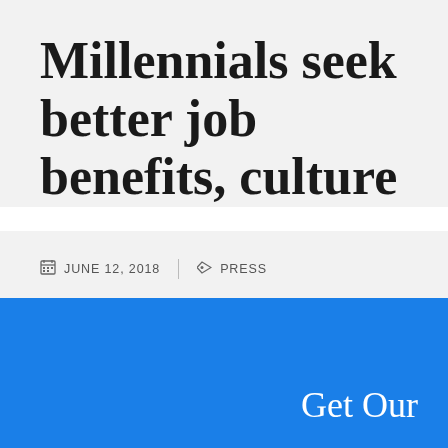Millennials seek better job benefits, culture
JUNE 12, 2018 | PRESS
» Millennials seek better job benefits, culture
[Figure (other): Social share buttons: Facebook, Twitter, LinkedIn]
Get Our